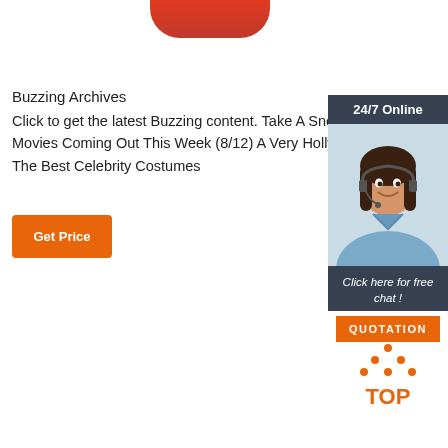[Figure (illustration): Partial red rounded object visible at top center of page]
Buzzing Archives
Click to get the latest Buzzing content. Take A Sneak Movies Coming Out This Week (8/12) A Very Hollyw The Best Celebrity Costumes
[Figure (illustration): Get Price orange button]
[Figure (infographic): 24/7 Online chat widget with woman wearing headset, Click here for free chat!, QUOTATION button]
[Figure (logo): TOP logo with orange dots forming a triangle above the text TOP in orange letters]